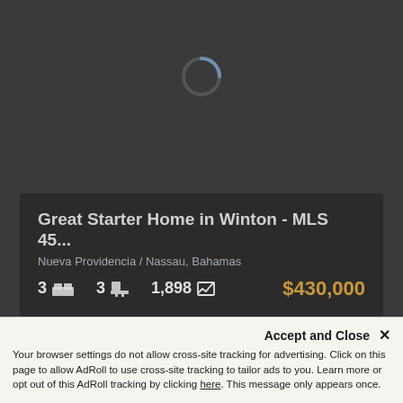[Figure (screenshot): Dark background with a loading spinner circle in the upper center area]
Great Starter Home in Winton - MLS 45...
Nueva Providencia / Nassau, Bahamas
3 [bed icon]   3 [bath icon]   1,898 [sqft icon]   $430,000
Accept and Close ✕
Your browser settings do not allow cross-site tracking for advertising. Click on this page to allow AdRoll to use cross-site tracking to tailor ads to you. Learn more or opt out of this AdRoll tracking by clicking here. This message only appears once.